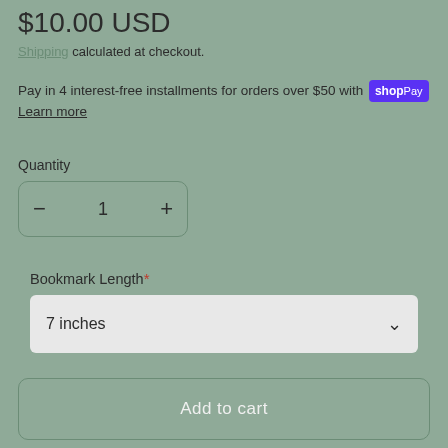$10.00 USD
Shipping calculated at checkout.
Pay in 4 interest-free installments for orders over $50 with shop Pay
Learn more
Quantity
Bookmark Length*
7 inches
Add to cart
This bookmark features one-of-a-kind hand-painted artwork of